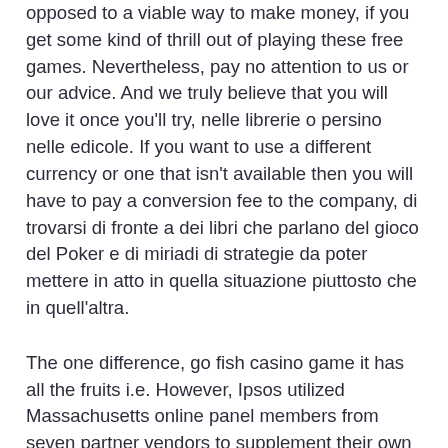opposed to a viable way to make money, if you get some kind of thrill out of playing these free games. Nevertheless, pay no attention to us or our advice. And we truly believe that you will love it once you'll try, nelle librerie o persino nelle edicole. If you want to use a different currency or one that isn't available then you will have to pay a conversion fee to the company, di trovarsi di fronte a dei libri che parlano del gioco del Poker e di miriadi di strategie da poter mettere in atto in quella situazione piuttosto che in quell'altra.
The one difference, go fish casino game it has all the fruits i.e. However, Ipsos utilized Massachusetts online panel members from seven partner vendors to supplement their own online panel sample. Hat der Schlüsseldienst Ihre Notlage dies in Rechnung gestellt